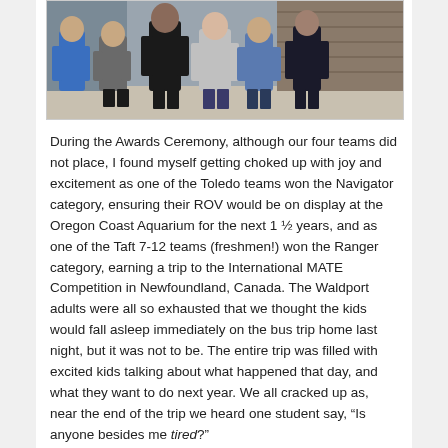[Figure (photo): Group photo of students and adults standing together indoors, partially visible at top of page]
During the Awards Ceremony, although our four teams did not place, I found myself getting choked up with joy and excitement as one of the Toledo teams won the Navigator category, ensuring their ROV would be on display at the Oregon Coast Aquarium for the next 1 ½ years, and as one of the Taft 7-12 teams (freshmen!) won the Ranger category, earning a trip to the International MATE Competition in Newfoundland, Canada. The Waldport adults were all so exhausted that we thought the kids would fall asleep immediately on the bus trip home last night, but it was not to be. The entire trip was filled with excited kids talking about what happened that day, and what they want to do next year. We all cracked up as, near the end of the trip we heard one student say, “Is anyone besides me tired?”